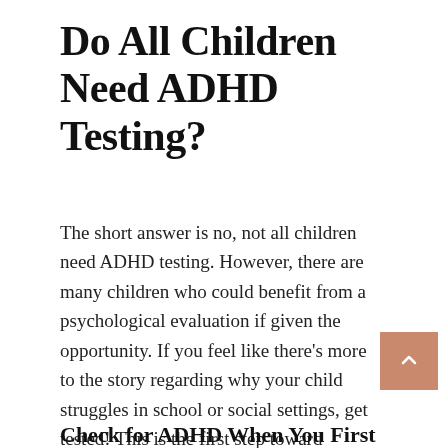Do All Children Need ADHD Testing?
The short answer is no, not all children need ADHD testing. However, there are many children who could benefit from a psychological evaluation if given the opportunity. If you feel like there’s more to the story regarding why your child struggles in school or social settings, get tested! This is the first step toward personalized treatment and solutions.
Check for ADHD When You First...